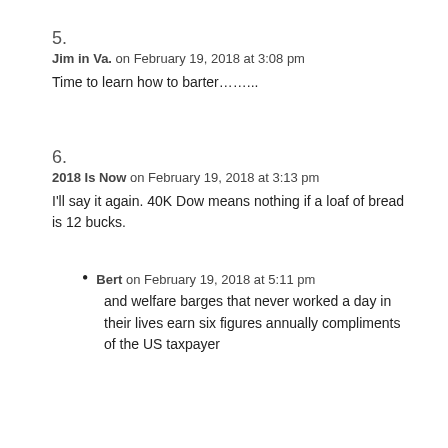5.
Jim in Va. on February 19, 2018 at 3:08 pm
Time to learn how to barter……..
6.
2018 Is Now on February 19, 2018 at 3:13 pm
I'll say it again. 40K Dow means nothing if a loaf of bread is 12 bucks.
Bert on February 19, 2018 at 5:11 pm
and welfare barges that never worked a day in their lives earn six figures annually compliments of the US taxpayer